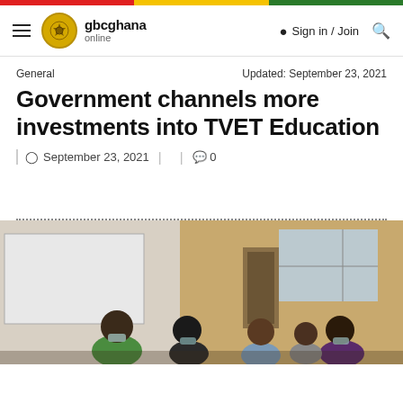gbcghana online — Sign in / Join
General
Updated: September 23, 2021
Government channels more investments into TVET Education
September 23, 2021   0
[Figure (photo): People in a classroom/training room setting, some wearing face masks, gathered around a table or workspace. The room has a whiteboard and windows.]